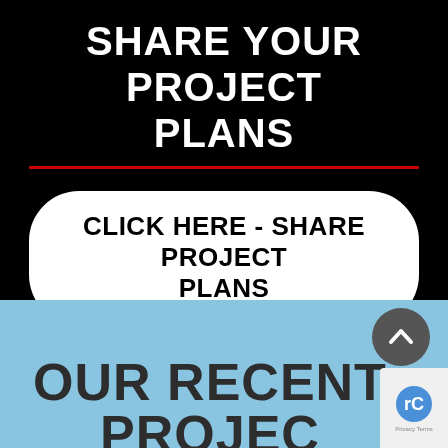SHARE YOUR PROJECT PLANS
CLICK HERE - SHARE PROJECT PLANS
OUR RECENT
PROJECTS